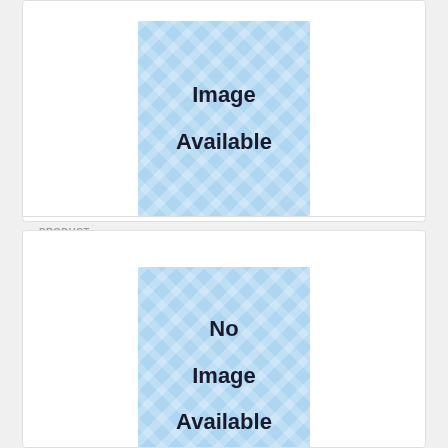[Figure (illustration): No Image Available placeholder with blue crosshatch texture pattern, top portion visible, showing 'Image Available' text]
PRODUCT
Jupiter Tenor Sax Mouthpiece Kit
$32.99 $59.99
[Figure (illustration): No Image Available placeholder with blue crosshatch texture pattern, showing 'No Image Available' text]